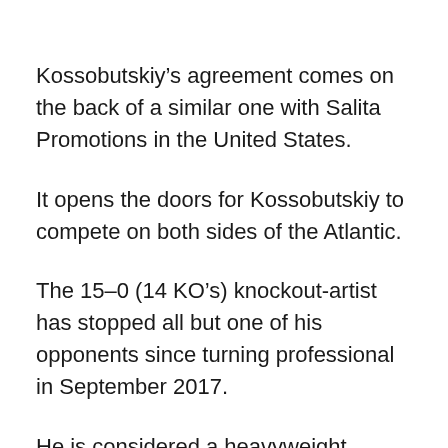Kossobutskiy’s agreement comes on the back of a similar one with Salita Promotions in the United States.
It opens the doors for Kossobutskiy to compete on both sides of the Atlantic.
The 15–0 (14 KO’s) knockout-artist has stopped all but one of his opponents since turning professional in September 2017.
He is considered a heavyweight version of Gennady Golovkin in his homeland.